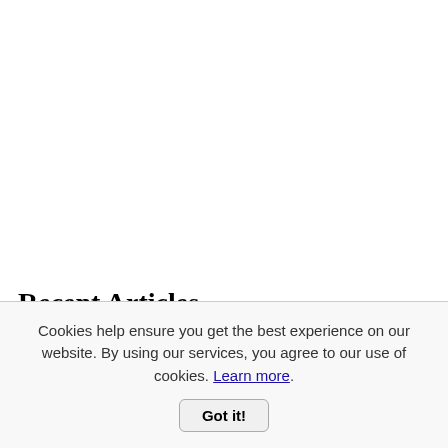Recent Articles
Cookies help ensure you get the best experience on our website. By using our services, you agree to our use of cookies. Learn more.
Got it!